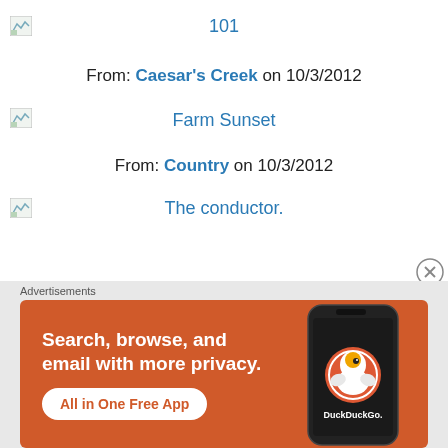101
From: Caesar's Creek on 10/3/2012
Farm Sunset
From: Country on 10/3/2012
The conductor.
[Figure (screenshot): DuckDuckGo advertisement banner: 'Search, browse, and email with more privacy. All in One Free App' with DuckDuckGo logo and phone image]
Advertisements